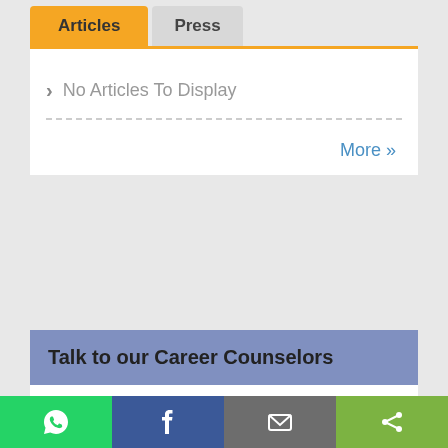Articles | Press
No Articles To Display
More »
Talk to our Career Counselors
Career Problem Solution Specialist By Dr Ikhi
WhatsApp | Facebook | Email | Share